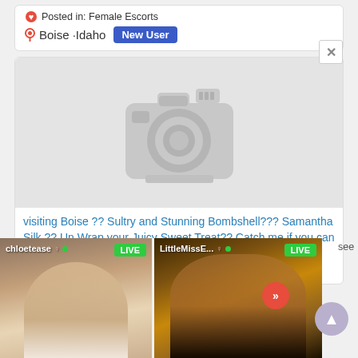Posted in: Female Escorts
Boise ·Idaho  New User
[Figure (photo): Placeholder camera icon indicating no photo available]
visiting Boise ?? Sultry and Stunning Bombshell??? Samantha Silk ?? Un Wrap your Juicy Sweet Treat?? Catch me if you.can Cowboy??? Hot Filly on the loose???
Posted in: Female Escorts
[Figure (photo): Live stream overlay panels showing two live users: chloetemise (LIVE) and LittleMissE... (LIVE), with partially visible escort listing text underneath]